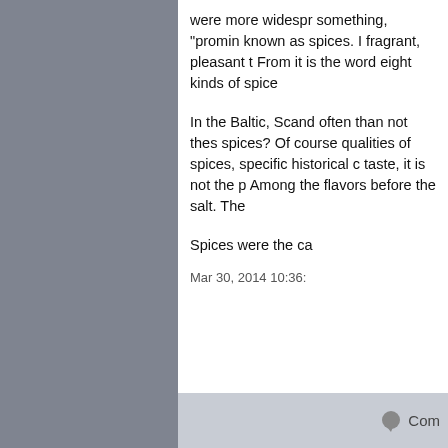were more widespread something, "prominent known as spices. In fragrant, pleasant t From it is the word eight kinds of spice
In the Baltic, Scand often than not thes spices? Of course qualities of spices, specific historical c taste, it is not the p Among the flavors before the salt. The
Spices were the ca
Mar 30, 2014 10:36:
[Figure (screenshot): Comment button area at the bottom of the panel with a speech bubble icon and 'Com' text (truncated)]